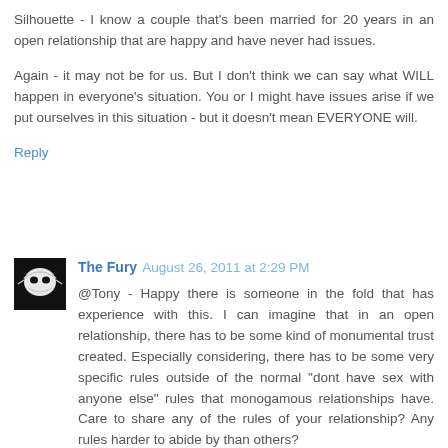Silhouette - I know a couple that's been married for 20 years in an open relationship that are happy and have never had issues.
Again - it may not be for us. But I don't think we can say what WILL happen in everyone's situation. You or I might have issues arise if we put ourselves in this situation - but it doesn't mean EVERYONE will.
Reply
The Fury  August 26, 2011 at 2:29 PM
@Tony - Happy there is someone in the fold that has experience with this. I can imagine that in an open relationship, there has to be some kind of monumental trust created. Especially considering, there has to be some very specific rules outside of the normal "dont have sex with anyone else" rules that monogamous relationships have. Care to share any of the rules of your relationship? Any rules harder to abide by than others?